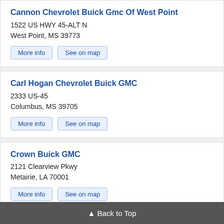Cannon Chevrolet Buick Gmc Of West Point
1522 US HWY 45-ALT N
West Point, MS 39773
More info | See on map
Carl Hogan Chevrolet Buick GMC
2333 US-45
Columbus, MS 39705
More info | See on map
Crown Buick GMC
2121 Clearview Pkwy
Metairie, LA 70001
More info | See on map
Mossy Motors
1331 S Broad St
New Orleans, LA 70125
▲ Back to Top